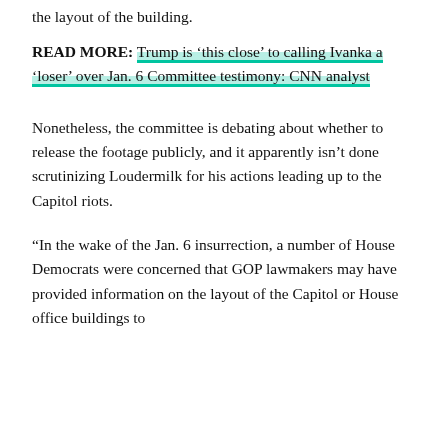the layout of the building.
READ MORE: Trump is ‘this close’ to calling Ivanka a ‘loser’ over Jan. 6 Committee testimony: CNN analyst
Nonetheless, the committee is debating about whether to release the footage publicly, and it apparently isn’t done scrutinizing Loudermilk for his actions leading up to the Capitol riots.
“In the wake of the Jan. 6 insurrection, a number of House Democrats were concerned that GOP lawmakers may have provided information on the layout of the Capitol or House office buildings to supporters of former President Donald Trump, who